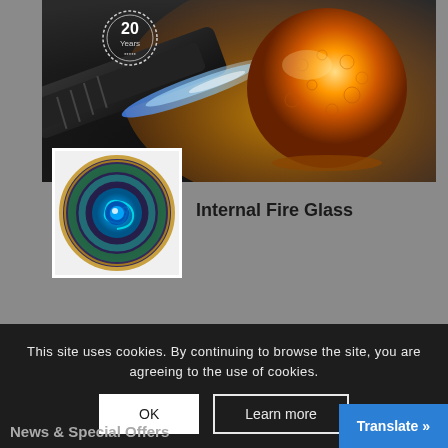[Figure (photo): Close-up photo of a glassblowing torch with blue flame heating an orange glowing glass sphere, with a '20 Years' badge in the top-left corner]
[Figure (photo): Thumbnail of a decorative glass marble/sphere with blue and green spiral swirl pattern]
Internal Fire Glass
This site uses cookies. By continuing to browse the site, you are agreeing to the use of cookies.
OK
Learn more
Translate »
News & Special Offers